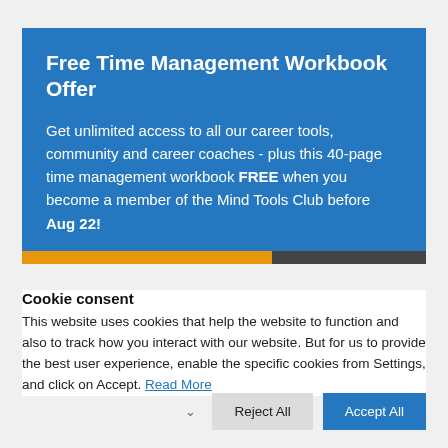Free Time Management Workbook Offer
Get unlimited access to all our career tools, community and career coaches - plus this 40-page time management workbook FREE when you become a member of the Mind Tools Club before Aug 22!
Cookie consent
This website uses cookies that help the website to function and also to track how you interact with our website. But for us to provide the best user experience, enable the specific cookies from Settings, and click on Accept. Read More